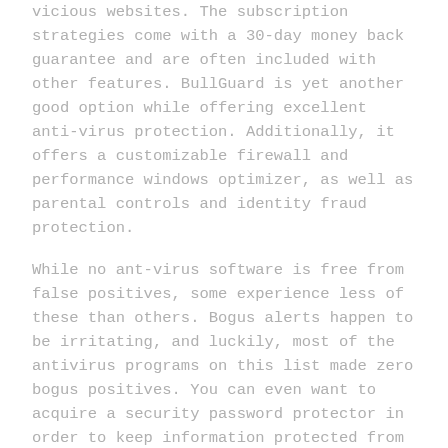vicious websites. The subscription strategies come with a 30-day money back guarantee and are often included with other features. BullGuard is yet another good option while offering excellent anti-virus protection. Additionally, it offers a customizable firewall and performance windows optimizer, as well as parental controls and identity fraud protection.
While no ant-virus software is free from false positives, some experience less of these than others. Bogus alerts happen to be irritating, and luckily, most of the antivirus programs on this list made zero bogus positives. You can even want to acquire a security password protector in order to keep information protected from prying eye. Despite most of these benefits, you might still want to find an anti-virus that offers a 30-day money-back